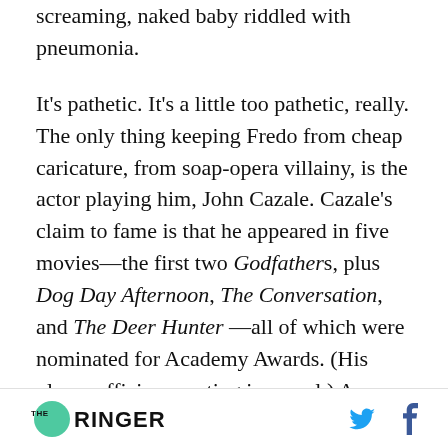screaming, naked baby riddled with pneumonia.
It's pathetic. It's a little too pathetic, really. The only thing keeping Fredo from cheap caricature, from soap-opera villainy, is the actor playing him, John Cazale. Cazale's claim to fame is that he appeared in five movies—the first two Godfathers, plus Dog Day Afternoon, The Conversation, and The Deer Hunter —all of which were nominated for Academy Awards. (His player efficiency rating is unreal.) As Fredo, he provides a master class in how much strength it takes to convincingly convey
THE RINGER